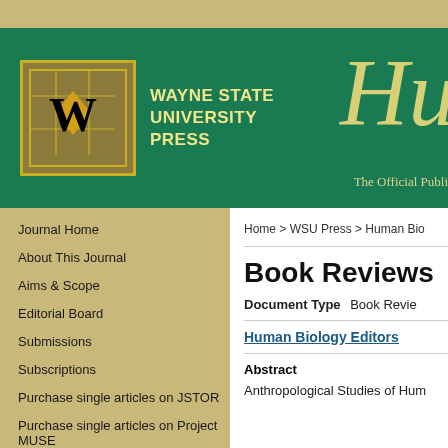[Figure (logo): Wayne State University Press logo with W emblem and grid pattern]
WAYNE STATE UNIVERSITY PRESS
Hu
The Official Publi
Journal Home
About This Journal
Aims & Scope
Editorial Board
Submissions
Subscriptions
Purchase single articles on JSTOR
Purchase single articles on Project MUSE
Purchase single articles on BioOne
Contact Us
Home > WSU Press > Human Bio
Book Reviews
Document Type   Book Revie
Human Biology Editors
Abstract
Anthropological Studies of Hum